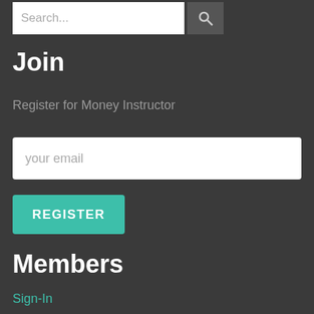Search...
Join
Register for Money Instructor
your email
REGISTER
Members
Sign-In